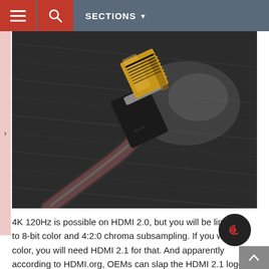SECTIONS
[Figure (photo): Close-up photo of a gold-tipped HDMI cable connector lying on a dark textured surface, showing the metal connector end with gold contacts]
4K 120Hz is possible on HDMI 2.0, but you will be limited to 8-bit color and 4:2:0 chroma subsampling. If you want it color, you will need HDMI 2.1 for that. And apparently according to HDMI.org, OEMs can slap the HDMI 2.1 logo on